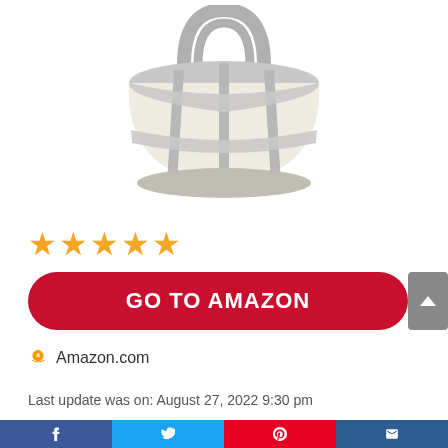[Figure (photo): Product image of a wicker/mesh basket with gray metal frame and handle on white background]
[Figure (other): 5 orange star rating icons]
GO TO AMAZON
Amazon.com
Last update was on: August 27, 2022 9:30 pm
[Figure (other): Bottom social share bar with Facebook, Twitter, Pinterest, and email icons]